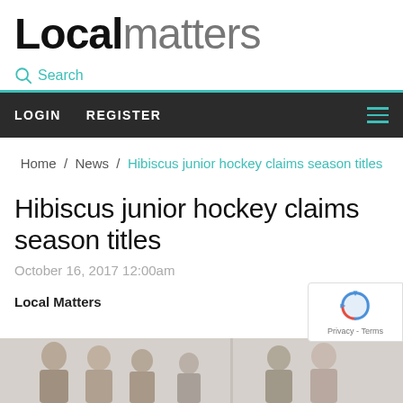Localmatters
Search
LOGIN  REGISTER
Home / News / Hibiscus junior hockey claims season titles
Hibiscus junior hockey claims season titles
October 16, 2017 12:00am
Local Matters
[Figure (photo): Photo strip showing several people at the bottom of the page]